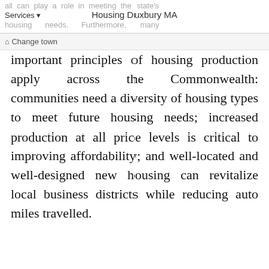all can play a role in meeting the state's housing needs. Furthermore, many | Services ▼  Housing Duxbury MA
⌂ Change town
important principles of housing production apply across the Commonwealth: communities need a diversity of housing types to meet future housing needs; increased production at all price levels is critical to improving affordability; and well-located and well-designed new housing can revitalize local business districts while reducing auto miles travelled.